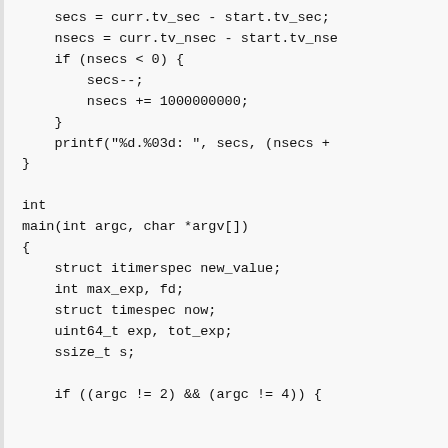Code snippet showing C code with timing and main function structure including struct itimerspec, int variables, struct timespec, uint64_t, ssize_t declarations and conditional check.